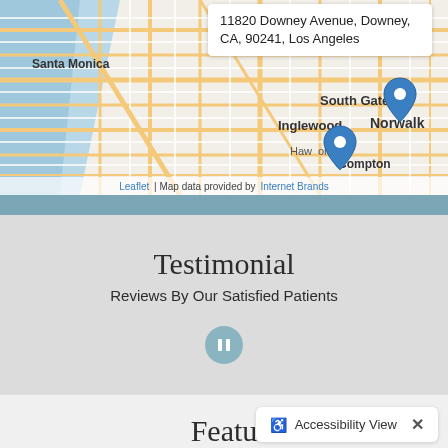[Figure (map): Street map of Los Angeles area showing Santa Monica, Inglewood, South Gate, Compton, Norwalk areas with two blue location pin markers. A tooltip popup shows address: 11820 Downey Avenue, Downey, CA, 90241, Los Angeles. Map attribution: Leaflet | Map data provided by Internet Brands.]
Testimonial
Reviews By Our Satisfied Patients
Featu...